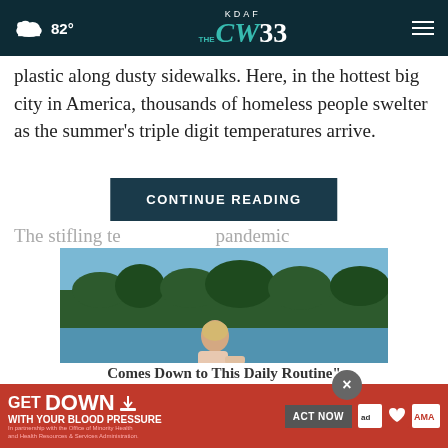82° KDAF CW 33
plastic along dusty sidewalks. Here, in the hottest big city in America, thousands of homeless people swelter as the summer's triple digit temperatures arrive.
The stifling te... pandemic
CONTINUE READING
[Figure (photo): Woman sitting by a lake with forested hills in the background, viewed from the side]
[Figure (screenshot): Advertisement banner: GET DOWN WITH YOUR BLOOD PRESSURE - ACT NOW - In partnership with Office of Minority Health and Health Resources & Services Administration, with ad council, heart association, and AMA logos]
Comes Down to This Daily Routine"